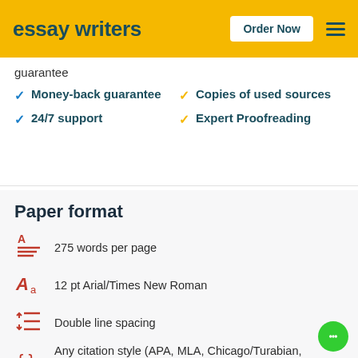essay writers | Order Now
guarantee
Money-back guarantee
24/7 support
Copies of used sources
Expert Proofreading
Paper format
275 words per page
12 pt Arial/Times New Roman
Double line spacing
Any citation style (APA, MLA, Chicago/Turabian, Harvard)